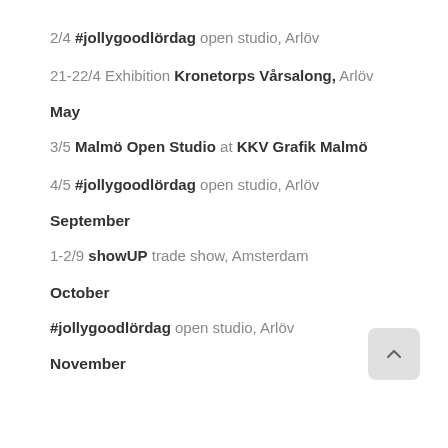2/4 #jollygoodlördag open studio, Arlöv
21-22/4 Exhibition Kronetorps Vårsalong, Arlöv
May
3/5 Malmö Open Studio at KKV Grafik Malmö
4/5 #jollygoodlördag open studio, Arlöv
September
1-2/9 showUP trade show, Amsterdam
October
#jollygoodlördag open studio, Arlöv
November